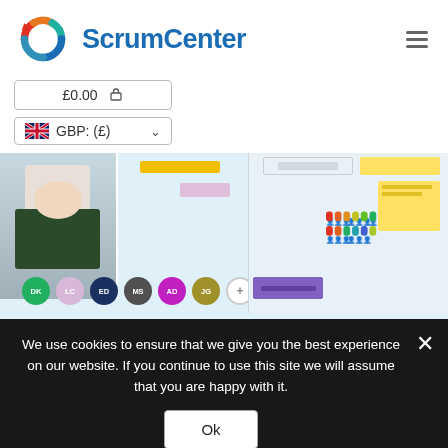[Figure (logo): ScrumCenter logo — circular arrows icon in red, orange, teal, blue colors alongside bold blue text 'ScrumCenter']
£0.00 🔒
🇬🇧 GBP: (£) ∨
[Figure (screenshot): Website screenshot showing a scrum/agile tool interface with user avatars (DK, LC, ED, MS, AD, JG), a person working at desk photo, sticky note boards, and a people capacity chart with colored figure icons]
We use cookies to ensure that we give you the best experience on our website. If you continue to use this site we will assume that you are happy with it.
Ok